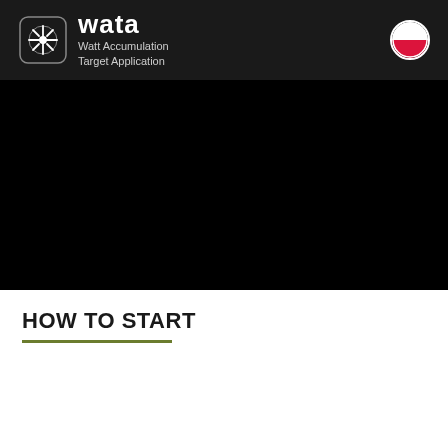[Figure (logo): WATA - Watt Accumulation Target Application logo with icon showing a stylized figure, white text on dark background, and Polish flag circle in top right]
[Figure (other): Black rectangular area representing a video or dark content area]
HOW TO START